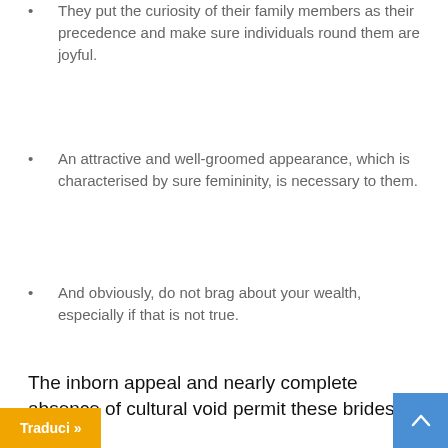They put the curiosity of their family members as their precedence and make sure individuals round them are joyful.
An attractive and well-groomed appearance, which is characterised by sure femininity, is necessary to them.
And obviously, do not brag about your wealth, especially if that is not true.
The inborn appeal and nearly complete absence of cultural void permit these brides